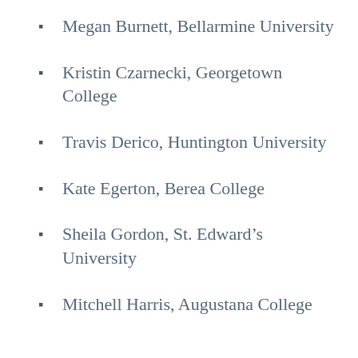Megan Burnett, Bellarmine University
Kristin Czarnecki, Georgetown College
Travis Derico, Huntington University
Kate Egerton, Berea College
Sheila Gordon, St. Edward's University
Mitchell Harris, Augustana College